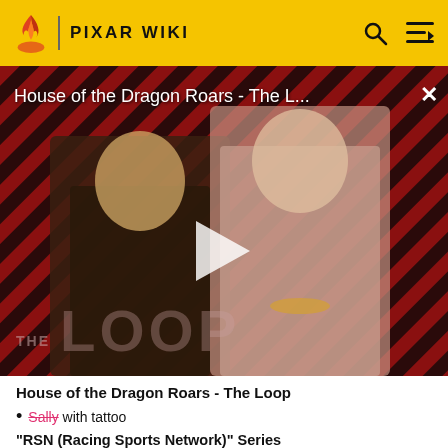PIXAR WIKI
[Figure (screenshot): Video thumbnail for 'House of the Dragon Roars - The L...' showing two characters from House of the Dragon against a red diagonal stripe background with THE LOOP logo overlay and a play button in the center. A close (X) button is in the top right corner.]
House of the Dragon Roars - The Loop
Sally with tattoo
"RSN (Racing Sports Network)" Series
Matthew "True Blue" McCrew (Cars) (image)
Cars (First release of this shirt)